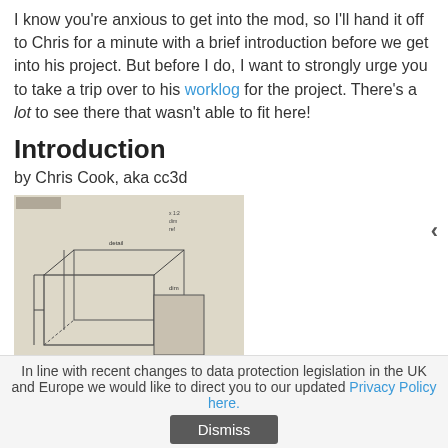I know you're anxious to get into the mod, so I'll hand it off to Chris for a minute with a brief introduction before we get into his project. But before I do, I want to strongly urge you to take a trip over to his worklog for the project. There's a lot to see there that wasn't able to fit here!
Introduction
by Chris Cook, aka cc3d
[Figure (illustration): Hand-drawn pencil sketch showing a 3D engineering/case mod design with perspective lines and annotations]
In line with recent changes to data protection legislation in the UK and Europe we would like to direct you to our updated Privacy Policy here.
Dismiss